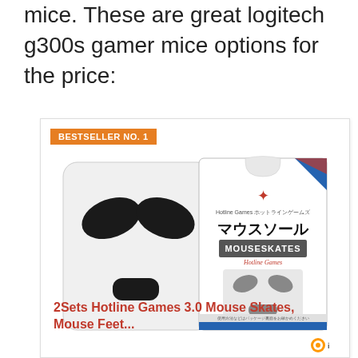mice. These are great logitech g300s gamer mice options for the price:
[Figure (photo): Product card showing 2Sets Hotline Games 3.0 Mouse Skates packaging and mouse feet pads. Includes a BESTSELLER NO. 1 badge in orange. The image shows a white square card with black mouse skate shapes, and a retail blister package with Japanese text reading マウスソール (mouse sole) and MOUSESKATES branding with a red spider/scorpion logo.]
2Sets Hotline Games 3.0 Mouse Skates, Mouse Feet...